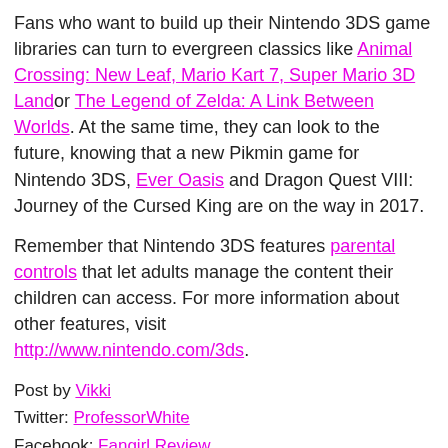Fans who want to build up their Nintendo 3DS game libraries can turn to evergreen classics like Animal Crossing: New Leaf, Mario Kart 7, Super Mario 3D Land or The Legend of Zelda: A Link Between Worlds. At the same time, they can look to the future, knowing that a new Pikmin game for Nintendo 3DS, Ever Oasis and Dragon Quest VIII: Journey of the Cursed King are on the way in 2017.
Remember that Nintendo 3DS features parental controls that let adults manage the content their children can access. For more information about other features, visit http://www.nintendo.com/3ds.
Post by Vikki
Twitter: ProfessorWhite
Facebook: Fangirl Review
at 5:00:00 AM